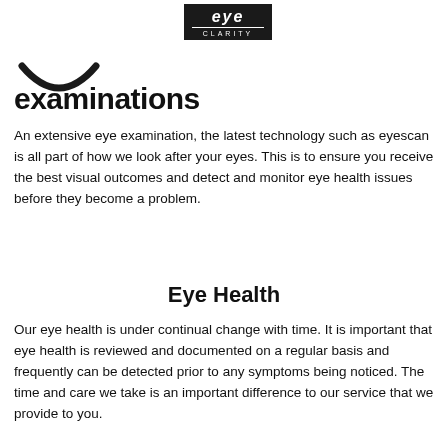[Figure (logo): Eye Clarity logo — white text on black box, italic 'eye' with 'CLARITY' below in small caps]
[Figure (illustration): Smile/arc icon in black]
examinations
An extensive eye examination, the latest technology such as eyescan is all part of how we look after your eyes. This is to ensure you receive the best visual outcomes and detect and monitor eye health issues before they become a problem.
Eye Health
Our eye health is under continual change with time. It is important that eye health is reviewed and documented on a regular basis and frequently can be detected prior to any symptoms being noticed. The time and care we take is an important difference to our service that we provide to you.